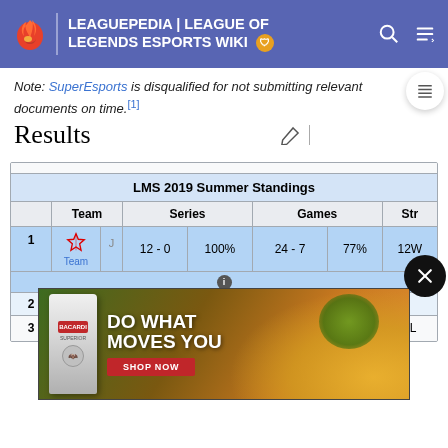LEAGUEPEDIA | LEAGUE OF LEGENDS ESPORTS WIKI
Note: SuperEsports is disqualified for not submitting relevant documents on time.[1]
Results
|  | Team | Series |  | Games |  | Str |
| --- | --- | --- | --- | --- | --- | --- |
| LMS 2019 Summer Standings |
|  | Team | Series |  | Games |  | Str |
| 1 | Team | 12 - 0 | 100% | 24 - 7 | 77% | 12W |
| 2 |  |  |  |  |  |  |
| 3 |  | 6 - 6 | 50% | 16 - 17 | 55% |  |
[Figure (photo): Bacardi advertisement banner: 'DO WHAT MOVES YOU' with SHOP NOW button, showing Bacardi Superior bottle and tropical fruits]